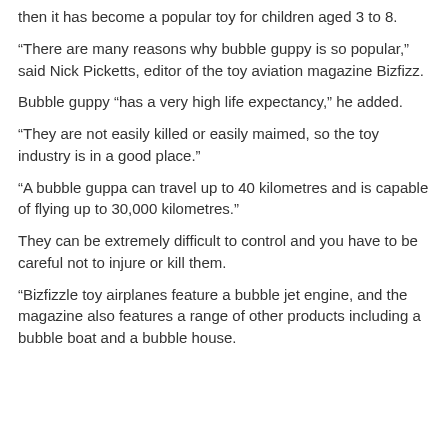then it has become a popular toy for children aged 3 to 8.
“There are many reasons why bubble guppy is so popular,” said Nick Picketts, editor of the toy aviation magazine Bizfizz.
Bubble guppy “has a very high life expectancy,” he added.
“They are not easily killed or easily maimed, so the toy industry is in a good place.”
“A bubble guppa can travel up to 40 kilometres and is capable of flying up to 30,000 kilometres.”
They can be extremely difficult to control and you have to be careful not to injure or kill them.
“Bizfizzle toy airplanes feature a bubble jet engine, and the magazine also features a range of other products including a bubble boat and a bubble house.